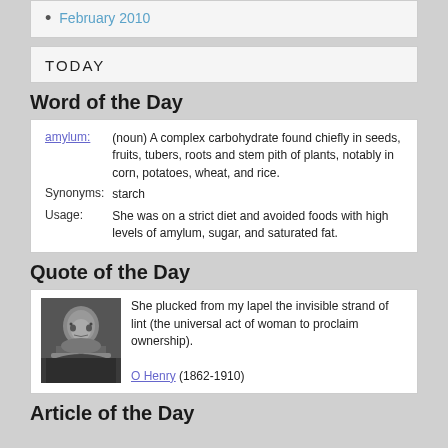February 2010
TODAY
Word of the Day
| amylum: | (noun) A complex carbohydrate found chiefly in seeds, fruits, tubers, roots and stem pith of plants, notably in corn, potatoes, wheat, and rice. |
| Synonyms: | starch |
| Usage: | She was on a strict diet and avoided foods with high levels of amylum, sugar, and saturated fat. |
Quote of the Day
She plucked from my lapel the invisible strand of lint (the universal act of woman to proclaim ownership). O Henry (1862-1910)
Article of the Day